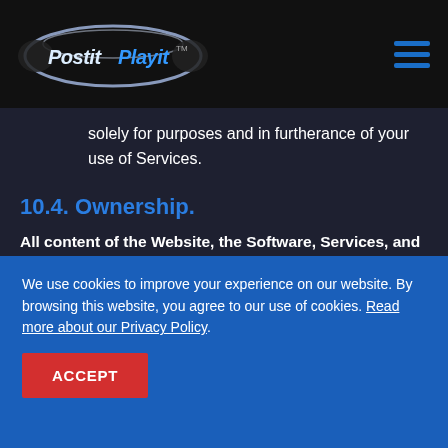PostitPlayit
solely for purposes and in furtherance of your use of Services.
10.4. Ownership.
All content of the Website, the Software, Services, and all products and services of PostitPlayit, and all PostitPlayit logos, symbols, expansion names and
We use cookies to improve your experience on our website. By browsing this website, you agree to our use of cookies. Read more about our Privacy Policy.
ACCEPT